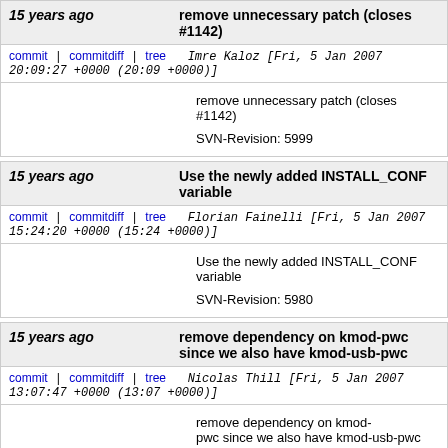15 years ago   remove unnecessary patch (closes #1142)
commit | commitdiff | tree   Imre Kaloz [Fri, 5 Jan 2007 20:09:27 +0000 (20:09 +0000)]
remove unnecessary patch (closes #1142)

SVN-Revision: 5999
15 years ago   Use the newly added INSTALL_CONF variable
commit | commitdiff | tree   Florian Fainelli [Fri, 5 Jan 2007 15:24:20 +0000 (15:24 +0000)]
Use the newly added INSTALL_CONF variable

SVN-Revision: 5980
15 years ago   remove dependency on kmod-pwc since we also have kmod-usb-pwc
commit | commitdiff | tree   Nicolas Thill [Fri, 5 Jan 2007 13:07:47 +0000 (13:07 +0000)]
remove dependency on kmod-pwc since we also have kmod-usb-pwc

SVN-Revision: 5979